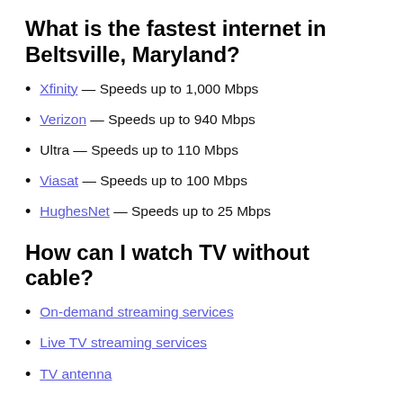What is the fastest internet in Beltsville, Maryland?
Xfinity — Speeds up to 1,000 Mbps
Verizon — Speeds up to 940 Mbps
Ultra — Speeds up to 110 Mbps
Viasat — Speeds up to 100 Mbps
HughesNet — Speeds up to 25 Mbps
How can I watch TV without cable?
On-demand streaming services
Live TV streaming services
TV antenna